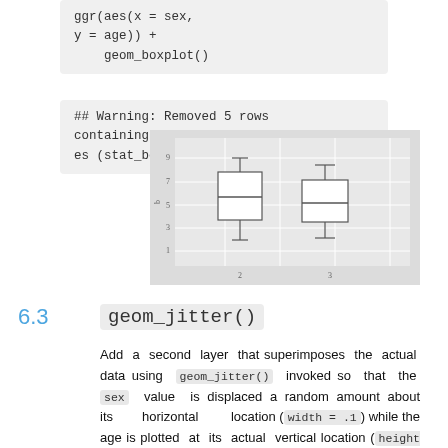ggr(aes(x = sex, y = age)) + geom_boxplot()
## Warning: Removed 5 rows containing non-finite values (stat_boxplot).
[Figure (other): Boxplot showing two box-and-whisker plots side by side on a grey background, representing age distributions by sex.]
6.3 geom_jitter()
Add a second layer that superimposes the actual data using geom_jitter() invoked so that the sex value is displaced a random amount about its horizontal location (width = .1) while the age is plotted at its actual vertical location (height = 0).